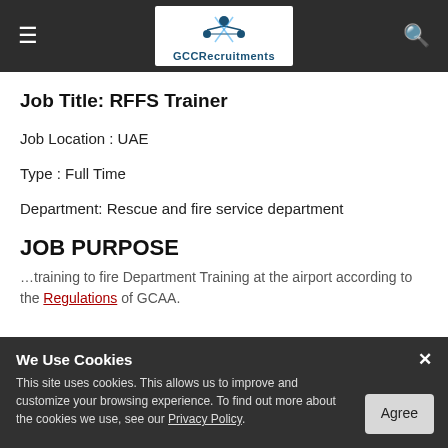GCCRecruitments
Job Title: RFFS Trainer
Job Location : UAE
Type : Full Time
Department: Rescue and fire service department
JOB PURPOSE
We Use Cookies
This site uses cookies. This allows us to improve and customize your browsing experience. To find out more about the cookies we use, see our Privacy Policy.
[Cookie banner overlay with Agree button]
...training to fire Department Training at the airport according to the Regulations of GCAA.